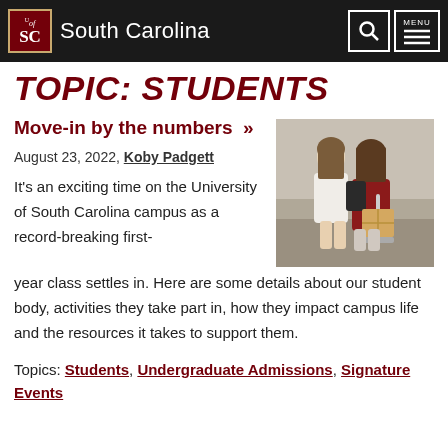South Carolina — University of South Carolina navigation bar
TOPIC: STUDENTS
Move-in by the numbers »
August 23, 2022, Koby Padgett
[Figure (photo): Two female students moving in on the University of South Carolina campus; one wears a red sweatshirt and is pushing a cart with boxes.]
It's an exciting time on the University of South Carolina campus as a record-breaking first-year class settles in. Here are some details about our student body, activities they take part in, how they impact campus life and the resources it takes to support them.
Topics: Students, Undergraduate Admissions, Signature Events